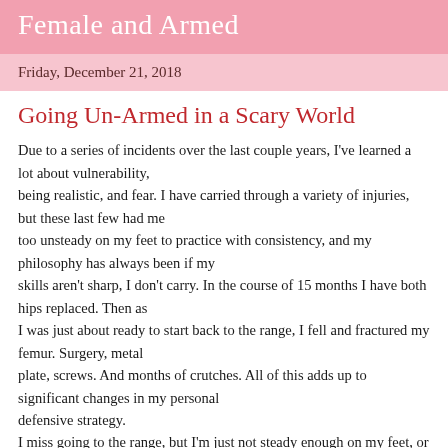Female and Armed
Friday, December 21, 2018
Going Un-Armed in a Scary World
Due to a series of incidents over the last couple years, I've learned a lot about vulnerability, being realistic, and fear. I have carried through a variety of injuries, but these last few had me too unsteady on my feet to practice with consistency, and my philosophy has always been if my skills aren't sharp, I don't carry. In the course of 15 months I have both hips replaced. Then as I was just about ready to start back to the range, I fell and fractured my femur. Surgery, metal plate, screws. And months of crutches. All of this adds up to significant changes in my personal defensive strategy. I miss going to the range, but I'm just not steady enough on my feet, or crutches, to be comfortable shooting. Actually, I could probably shoot, it is